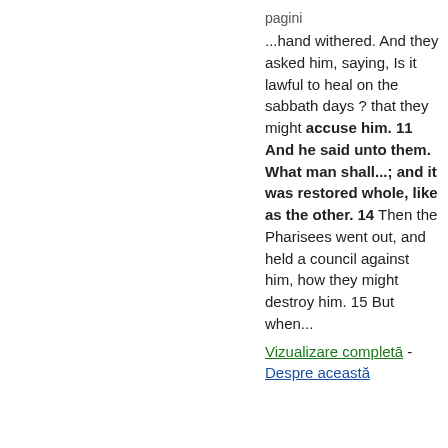pagini
...hand withered. And they asked him, saying, Is it lawful to heal on the sabbath days ? that they might accuse him. 11 And he said unto them. What man shall...; and it was restored whole, like as the other. 14 Then the Pharisees went out, and held a council against him, how they might destroy him. 15 But when...
Vizualizare completā - Despre această